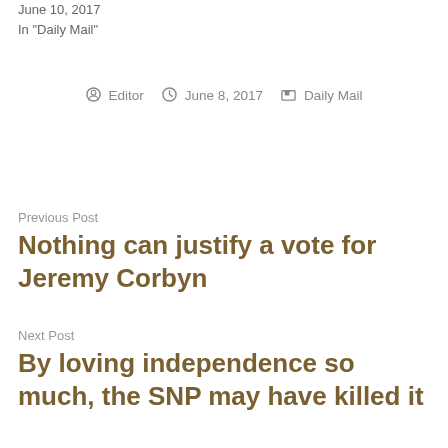June 10, 2017
In "Daily Mail"
Editor  June 8, 2017  Daily Mail
Previous Post
Nothing can justify a vote for Jeremy Corbyn
Next Post
By loving independence so much, the SNP may have killed it